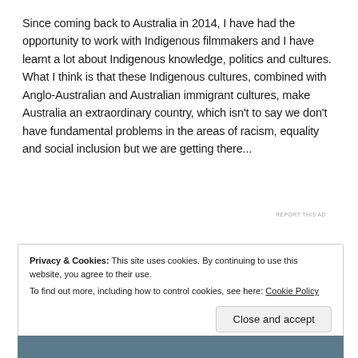Since coming back to Australia in 2014, I have had the opportunity to work with Indigenous filmmakers and I have learnt a lot about Indigenous knowledge, politics and cultures. What I think is that these Indigenous cultures, combined with Anglo-Australian and Australian immigrant cultures, make Australia an extraordinary country, which isn't to say we don't have fundamental problems in the areas of racism, equality and social inclusion but we are getting there...
REPORT THIS AD
Privacy & Cookies: This site uses cookies. By continuing to use this website, you agree to their use.
To find out more, including how to control cookies, see here: Cookie Policy
Close and accept